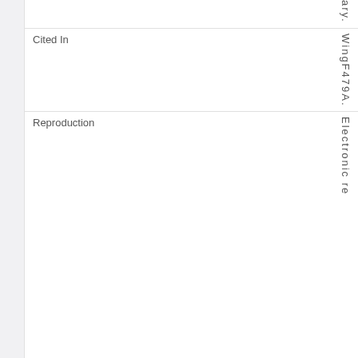|  | ary. |
| Cited In | WingF479A. |
| Reproduction | Electronic re... |